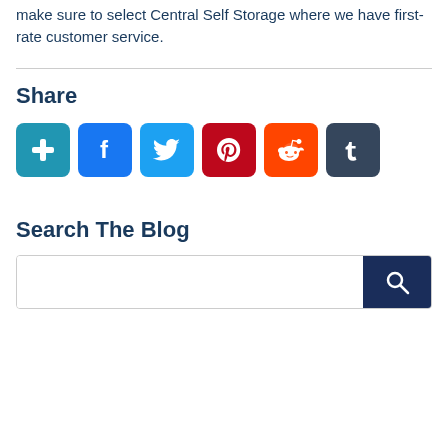make sure to select Central Self Storage where we have first-rate customer service.
Share
[Figure (infographic): Social share buttons row: AddThis (blue plus), Facebook (blue f), Twitter (blue bird), Pinterest (red P), Reddit (orange alien), Tumblr (dark t)]
Search The Blog